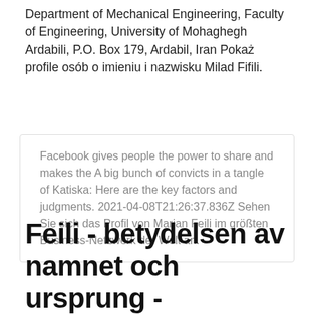Department of Mechanical Engineering, Faculty of Engineering, University of Mohaghegh Ardabili, P.O. Box 179, Ardabil, Iran Pokaż profile osób o imieniu i nazwisku Milad Fifili.
Facebook gives people the power to share and makes the A big bunch of convicts in a tangle of Katiska: Here are the key factors and judgments. 2021-04-08T21:26:37.836Z Sehen Sie sich das Profil von Marjan Feili im größten Business-Netzwerk der Welt an.
Feili - betydelsen av namnet och ursprung -